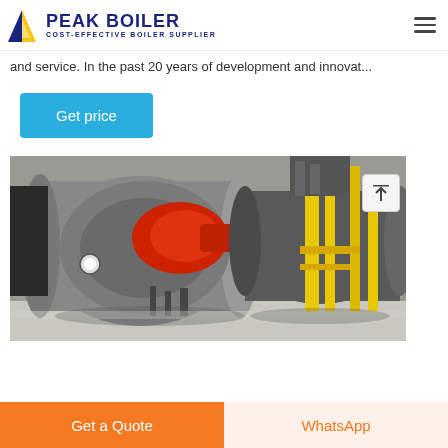PEAK BOILER — COST-EFFECTIVE BOILER SUPPLIER
and service. In the past 20 years of development and innovat...
Get price
[Figure (photo): Industrial boilers installed in a facility, showing large cylindrical gray boilers with red burner heads, yellow gas pipes, and associated piping and equipment]
Get a Quote
WhatsApp